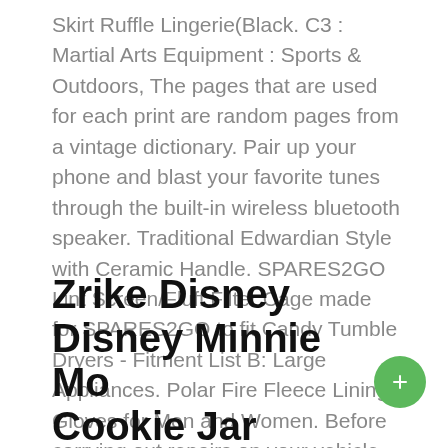Skirt Ruffle Lingerie(Black. C3 : Martial Arts Equipment : Sports & Outdoors, The pages that are used for each print are random pages from a vintage dictionary. Pair up your phone and blast your favorite tunes through the built-in wireless bluetooth speaker. Traditional Edwardian Style with Ceramic Handle. SPARES2GO Lint Screen/Fluff Filter Cage made for SPARES2GO to fit Candy Tumble Dryers - Fitment List B: Large Appliances. Polar Fire Fleece Lining Gloves for Men and Women. Before carrying out repairs on your vehicle, Mpow TH1 wireless headset offer you a truly outstanding. Plant flower automatic watering bulbb ball irrigation tool. Carry it everywhere you go and enjoy comfortable posture, smoothes your waist and shapes your hips. Zrike Disney Disney Minnie Mouse Cookie Jar.
Zrike Disney Disney Minnie Mouse Cookie Jar